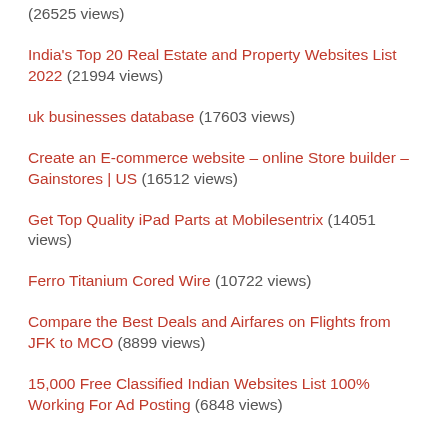(26525 views)
India's Top 20 Real Estate and Property Websites List 2022 (21994 views)
uk businesses database (17603 views)
Create an E-commerce website – online Store builder – Gainstores | US (16512 views)
Get Top Quality iPad Parts at Mobilesentrix (14051 views)
Ferro Titanium Cored Wire (10722 views)
Compare the Best Deals and Airfares on Flights from JFK to MCO (8899 views)
15,000 Free Classified Indian Websites List 100% Working For Ad Posting (6848 views)